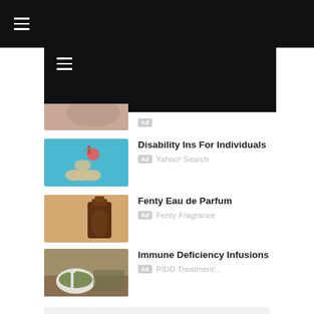≡ (hamburger menu, top navigation bar)
[Figure (screenshot): Partial ad item image — beige/pink tones, partially cut off at top]
[Figure (screenshot): Ad image: hand picking up small gold ball on blue background]
Disability Ins For Individuals
Ad Yahoo! Search
[Figure (screenshot): Ad image: dark amber perfume bottle on beige background]
Fenty Eau de Parfum
Ad Fenty Fragrance
[Figure (screenshot): Ad image: bowl of green paste with dried herbs on wooden surface]
Immune Deficiency Infusions
Ad PIDD Treatment...
LABELS
101
BEEF
CHICKEN